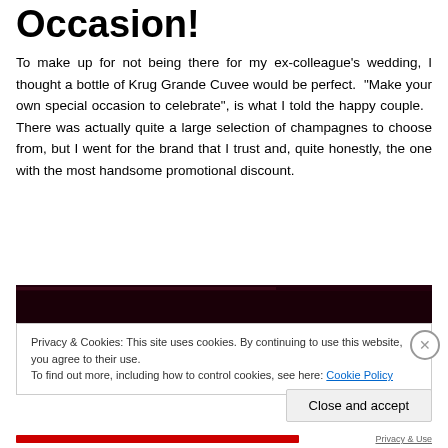Occasion!
To make up for not being there for my ex-colleague's wedding, I thought a bottle of Krug Grande Cuvee would be perfect. “Make your own special occasion to celebrate”, is what I told the happy couple. There was actually quite a large selection of champagnes to choose from, but I went for the brand that I trust and, quite honestly, the one with the most handsome promotional discount.
[Figure (photo): Dark image partially visible above cookie banner, appears to be a photo with very dark/black background and a thin highlight strip at top]
Privacy & Cookies: This site uses cookies. By continuing to use this website, you agree to their use.
To find out more, including how to control cookies, see here: Cookie Policy
Close and accept